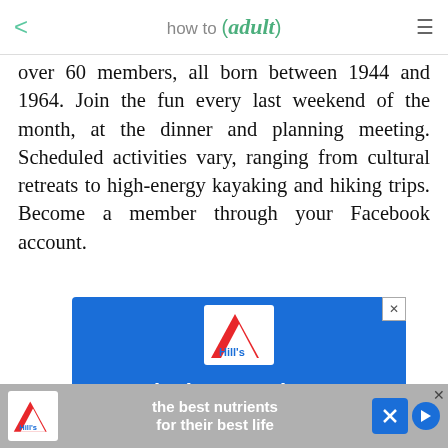how to (adult)
over 60 members, all born between 1944 and 1964. Join the fun every last weekend of the month, at the dinner and planning meeting. Scheduled activities vary, ranging from cultural retreats to high-energy kayaking and hiking trips. Become a member through your Facebook account.
[Figure (infographic): Hill's Pet Nutrition advertisement banner with blue background, Hill's logo, text 'the best nutrients for their best life', and 'Shop Dog Food' button]
[Figure (infographic): Hill's Pet Nutrition sticky bottom ad bar with logo, text 'the best nutrients for their best life', close and play buttons]